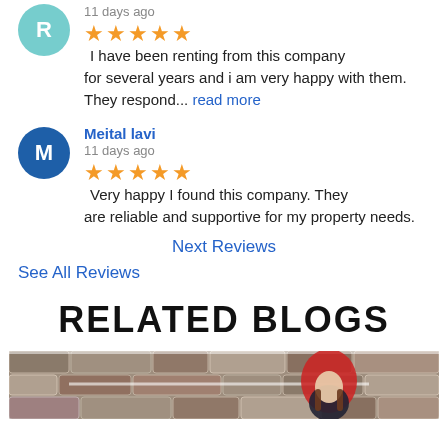11 days ago
★★★★★ I have been renting from this company for several years and i am very happy with them. They respond... read more
Meital lavi
11 days ago
★★★★★ Very happy I found this company. They are reliable and supportive for my property needs.
Next Reviews
See All Reviews
RELATED BLOGS
[Figure (photo): A young woman wearing a red beanie hat and dark coat standing in front of a stone wall covered in snow.]